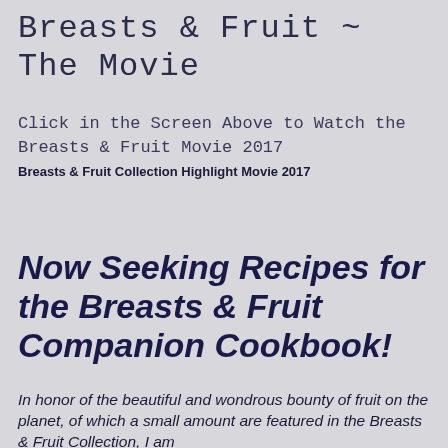Breasts & Fruit ~ The Movie
Click in the Screen Above to Watch the Breasts & Fruit Movie 2017
Breasts & Fruit Collection Highlight Movie 2017
Now Seeking Recipes for the Breasts & Fruit Companion Cookbook!
In honor of the beautiful and wondrous bounty of fruit on the planet, of which a small amount are featured in the Breasts & Fruit Collection, I am